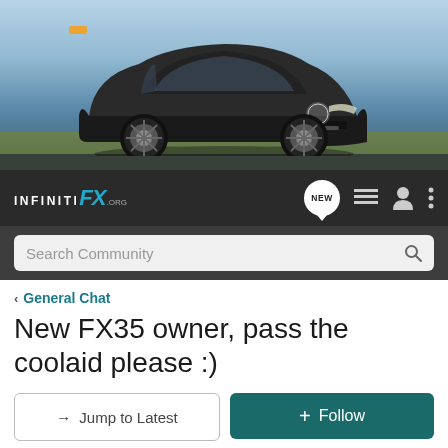[Figure (photo): Banner image of a dark grey Infiniti FX SUV driving against a sky background with rolling hills]
INFINITI FX .ORG — Navigation bar with NEW, list, user, and menu icons
Search Community
< General Chat
New FX35 owner, pass the coolaid please :)
→ Jump to Latest   ✚ Follow
1 - 12 of 12 Posts